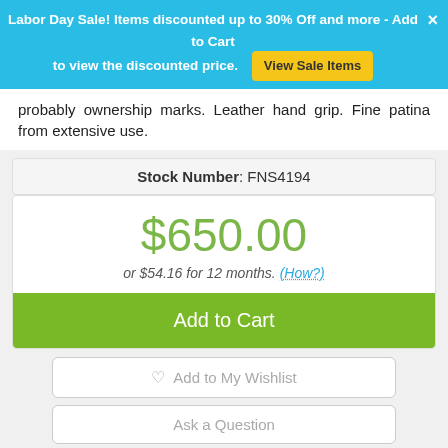Labor Day Sale! Items discounted up to 30% Off and more - Add to Cart to view the discounted price.
probably ownership marks. Leather hand grip. Fine patina from extensive use.
Stock Number: FNS4194
$650.00
or $54.16 for 12 months. (How?)
Add to Cart
Add to My Wishlist
Ask a Question
Print
What's included?